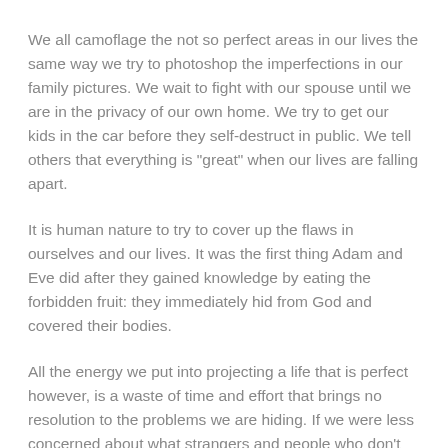We all camoflage the not so perfect areas in our lives the same way we try to photoshop the imperfections in our family pictures. We wait to fight with our spouse until we are in the privacy of our own home. We try to get our kids in the car before they self-destruct in public. We tell others that everything is "great" when our lives are falling apart.
It is human nature to try to cover up the flaws in ourselves and our lives. It was the first thing Adam and Eve did after they gained knowledge by eating the forbidden fruit: they immediately hid from God and covered their bodies.
All the energy we put into projecting a life that is perfect however, is a waste of time and effort that brings no resolution to the problems we are hiding. If we were less concerned about what strangers and people who don't care about us think, we would have a lot more freedom to deal with the less than perfect aspects of our lives and perhaps actually come to a place of peace or discern a way to deal with those issues.